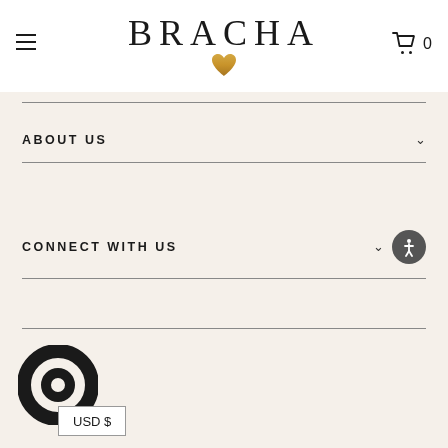BRACHA
ABOUT US
CONNECT WITH US
USD $